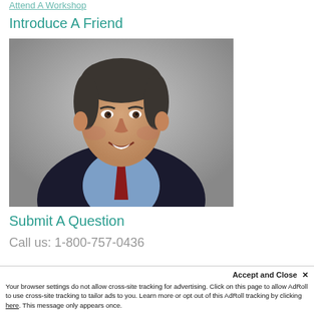Attend A Workshop
Introduce A Friend
[Figure (photo): Professional headshot of a middle-aged man in a dark suit, light blue dress shirt, and red tie, smiling against a gray background.]
Submit A Question
Call us: 1-800-757-0436
Accept and Close ✕
Your browser settings do not allow cross-site tracking for advertising. Click on this page to allow AdRoll to use cross-site tracking to tailor ads to you. Learn more or opt out of this AdRoll tracking by clicking here. This message only appears once.